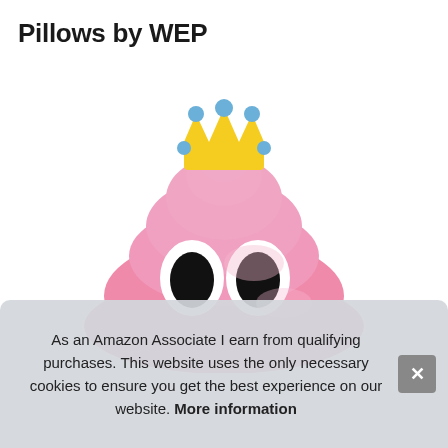Pillows by WEP
[Figure (photo): A pink plush poop emoji pillow/stuffed toy wearing a yellow and blue crown, with large oval black eyes with white borders, photographed on a white background.]
As an Amazon Associate I earn from qualifying purchases. This website uses the only necessary cookies to ensure you get the best experience on our website. More information